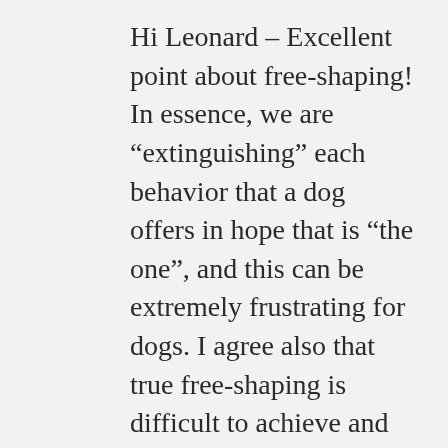Hi Leonard – Excellent point about free-shaping! In essence, we are “extinguishing” each behavior that a dog offers in hope that is “the one”, and this can be extremely frustrating for dogs. I agree also that true free-shaping is difficult to achieve and perhaps not something that works well with many dogs. Last week, one of our trainers taught a single-session “101 Things to Do with a Box” session at our training school. All of the trainers who participated are clicker-trainers and it was so interesting for us all to realize how much we wanted to help our dogs by luring or adding